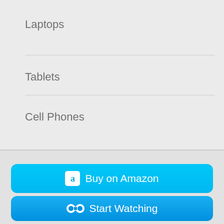Laptops
Tablets
Cell Phones
[Figure (screenshot): Buy on Amazon button - cyan/light blue rounded button with Amazon icon and white text]
[Figure (screenshot): Start Watching button - blue rounded button with binoculars icon and white text]